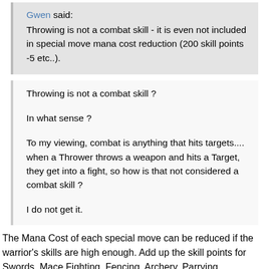Gwen said: Throwing is not a combat skill - it is even not included in special move mana cost reduction (200 skill points -5 etc..).
Throwing is not a combat skill ?
In what sense ?
To my viewing, combat is anything that hits targets.... when a Thrower throws a weapon and hits a Target, they get into a fight, so how is that not considered a combat skill ?
I do not get it.
The Mana Cost of each special move can be reduced if the warrior's skills are high enough. Add up the skill points for Swords, Mace Fighting, Fencing, Archery, Parrying, Lumberjacking, Stealth, Poisoning, Bushido and Ninjitsu. If the total lies between 200 and 299, subtract 5 from the Mana Cost. If the total is 300 or more, subtract 10 from the Mana Cost.